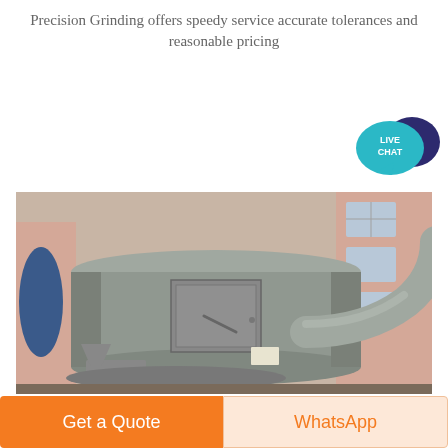Precision Grinding offers speedy service accurate tolerances and reasonable pricing
[Figure (photo): Industrial precision grinding machine — a large cylindrical gray metal grinding mill with an attached rectangular access panel and a curved pipe/chute, photographed outdoors in front of a building with pink walls and windows]
Get a Quote
WhatsApp